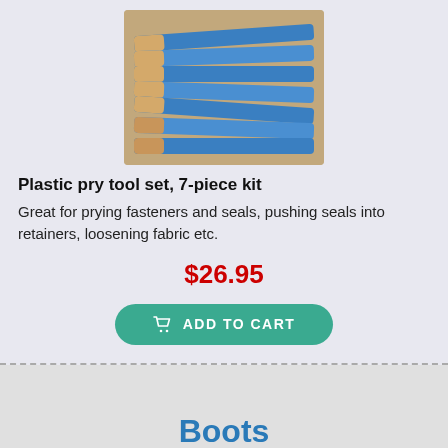[Figure (photo): Photo of a plastic pry tool set, 7 blue tools arranged overlapping each other on a wooden surface]
Plastic pry tool set, 7-piece kit
Great for prying fasteners and seals, pushing seals into retainers, loosening fabric etc.
$26.95
ADD TO CART
Boots
[Figure (photo): Partial photo of boots, only top portion visible at bottom of page]